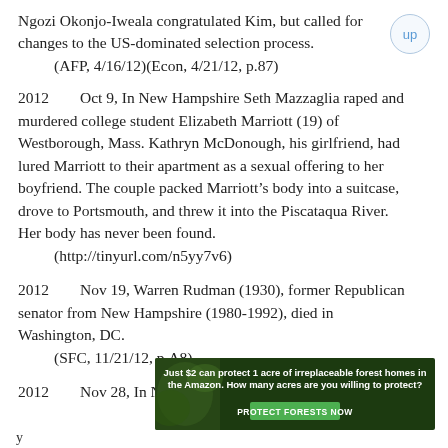Ngozi Okonjo-Iweala congratulated Kim, but called for changes to the US-dominated selection process.
    (AFP, 4/16/12)(Econ, 4/21/12, p.87)
2012        Oct 9, In New Hampshire Seth Mazzaglia raped and murdered college student Elizabeth Marriott (19) of Westborough, Mass. Kathryn McDonough, his girlfriend, had lured Marriott to their apartment as a sexual offering to her boyfriend. The couple packed Marriott’s body into a suitcase, drove to Portsmouth, and threw it into the Piscataqua River. Her body has never been found.
    (http://tinyurl.com/n5yy7v6)
2012        Nov 19, Warren Rudman (1930), former Republican senator from New Hampshire (1980-1992), died in Washington, DC.
    (SFC, 11/21/12, p.A8)
2012        Nov 28, In New Hampshire David
[Figure (infographic): Advertisement banner with dark green forest background. Text reads: 'Just $2 can protect 1 acre of irreplaceable forest homes in the Amazon. How many acres are you willing to protect?' with a green 'PROTECT FORESTS NOW' button.]